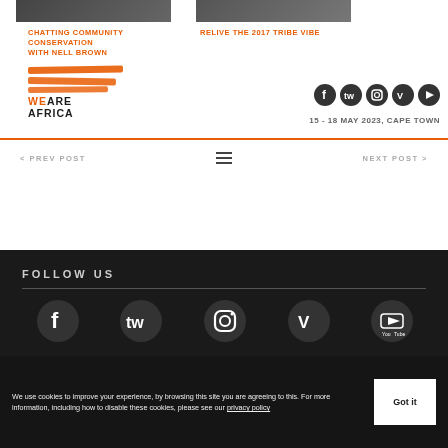[Figure (photo): Two small thumbnail photos at the top of the page]
[Figure (logo): We Are Africa logo with orange paint strokes and bold text]
CHATTING COMMUNITY CONSERVATION WITH NELL BROWN
RELIVE THE 2017 TRIBE VIBE
[Figure (infographic): Social media icons: Facebook, Twitter, Instagram, Vimeo, YouTube]
15 - 18 MAY 2023, CAPE TOWN
< PREV POST
[Figure (infographic): Hamburger menu icon (three horizontal lines)]
NEXT POST >
FOLLOW US
[Figure (infographic): Social media icons in footer: Facebook, Twitter, Instagram, Vimeo, YouTube]
We use cookies to improve your experience, by browsing this site you are agreeing to this. For more information, including how to disable these cookies, please see our privacy policy
Got it